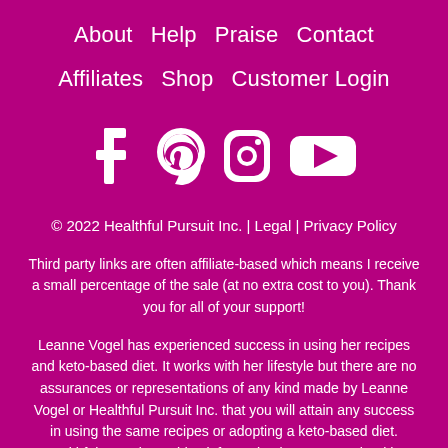About
Help
Praise
Contact
Affiliates
Shop
Customer Login
[Figure (illustration): Social media icons: Facebook, Pinterest, Instagram, YouTube]
© 2022 Healthful Pursuit Inc. | Legal | Privacy Policy
Third party links are often affiliate-based which means I receive a small percentage of the sale (at no extra cost to you). Thank you for all of your support!
Leanne Vogel has experienced success in using her recipes and keto-based diet. It works with her lifestyle but there are no assurances or representations of any kind made by Leanne Vogel or Healthful Pursuit Inc. that you will attain any success in using the same recipes or adopting a keto-based diet. Healthful Pursuit provides information in respect to healthy living, recipes, nutrition, and diet and is intended for informational purposes only. The